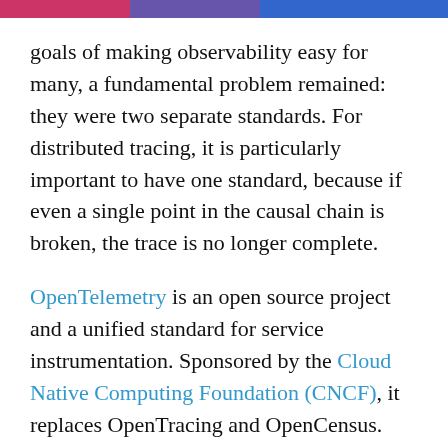goals of making observability easy for many, a fundamental problem remained: they were two separate standards. For distributed tracing, it is particularly important to have one standard, because if even a single point in the causal chain is broken, the trace is no longer complete.
OpenTelemetry is an open source project and a unified standard for service instrumentation. Sponsored by the Cloud Native Computing Foundation (CNCF), it replaces OpenTracing and OpenCensus. The OpenTelemetry project consists of specifications, APIs and SDKs for various languages (like Java, Go and Python). It also defines a centralized collector and exporters, to send data to